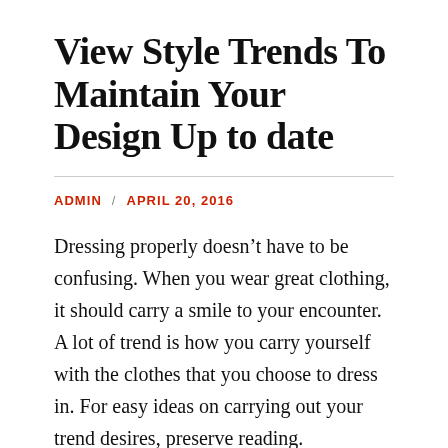View Style Trends To Maintain Your Design Up to date
ADMIN / APRIL 20, 2016
Dressing properly doesn’t have to be confusing. When you wear great clothing, it should carry a smile to your encounter. A lot of trend is how you carry yourself with the clothes that you choose to dress in. For easy ideas on carrying out your trend desires, preserve reading.
Insert a belt for a style upgrade. There are numerous